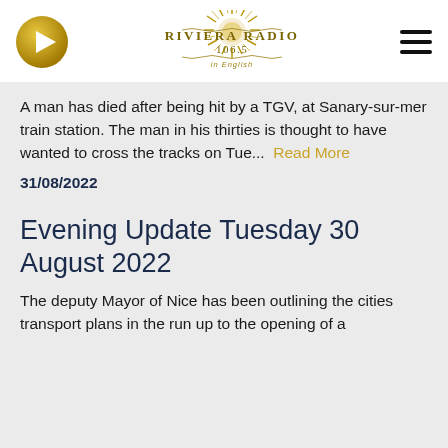[Figure (logo): Riviera Radio 106.5 in English logo with sun/burst design in gold, play button icon on left, hamburger menu on right]
A man has died after being hit by a TGV, at Sanary-sur-mer train station. The man in his thirties is thought to have wanted to cross the tracks on Tue... Read More
31/08/2022
Evening Update Tuesday 30 August 2022
The deputy Mayor of Nice has been outlining the cities transport plans in the run up to the opening of a